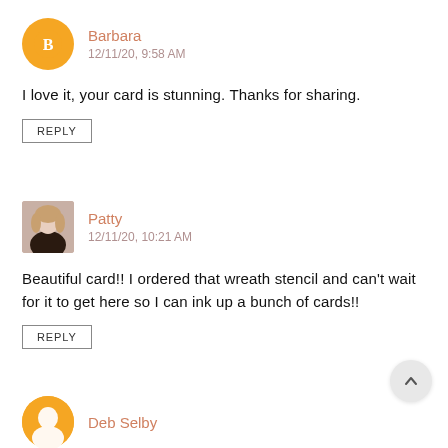[Figure (illustration): Orange circle avatar with blogger B icon for user Barbara]
Barbara
12/11/20, 9:58 AM
I love it, your card is stunning. Thanks for sharing.
REPLY
[Figure (photo): Profile photo of Patty, a woman with light hair]
Patty
12/11/20, 10:21 AM
Beautiful card!! I ordered that wreath stencil and can't wait for it to get here so I can ink up a bunch of cards!!
REPLY
[Figure (illustration): Orange circle avatar for third commenter Deb Selby (partially visible)]
Deb Selby